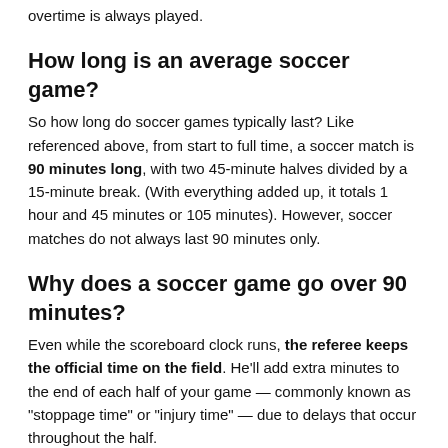overtime is always played.
How long is an average soccer game?
So how long do soccer games typically last? Like referenced above, from start to full time, a soccer match is 90 minutes long, with two 45-minute halves divided by a 15-minute break. (With everything added up, it totals 1 hour and 45 minutes or 105 minutes). However, soccer matches do not always last 90 minutes only.
Why does a soccer game go over 90 minutes?
Even while the scoreboard clock runs, the referee keeps the official time on the field. He'll add extra minutes to the end of each half of your game — commonly known as "stoppage time" or "injury time" — due to delays that occur throughout the half.
Does time ever stop in soccer?
The clock in a soccer game only stops at halftime. In